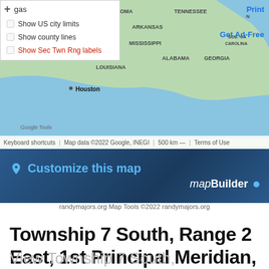[Figure (map): Google Maps screenshot showing southeastern United States with state labels including Oklahoma, Arkansas, Tennessee, Mississippi, Alabama, Louisiana, Georgia, South Carolina. Houston is labeled. Map has a dropdown menu overlay with checkboxes for 'Show US city limits', 'Show county lines', 'Show Sec Twn Rng labels'. A Print link and Get Ad-Free link visible. Map data ©2022 Google, INEGI with 500 km scale bar.]
[Figure (infographic): Dark blue gradient banner with 'Customize this map' in cyan text with a map pin icon, and 'mapBuilder' in white italic/bold text with a blue dot.]
randymajors.org Map Tools ©2022 randymajors.org
Township 7 South, Range 2 East, 1st Principal Meridian, Ohio
View Township 7 South, Range 2 East, 1st Principal